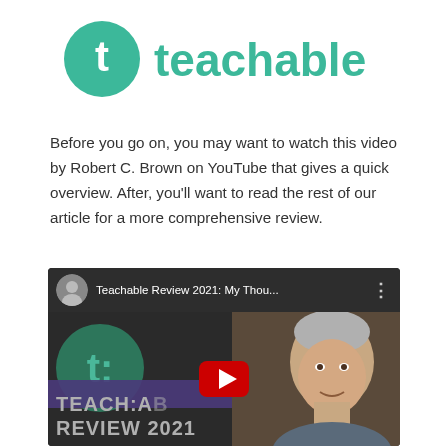[Figure (logo): Teachable logo — teal circle with white 't' letter followed by 'teachable' wordmark in teal]
Before you go on, you may want to watch this video by Robert C. Brown on YouTube that gives a quick overview. After, you'll want to read the rest of our article for a more comprehensive review.
[Figure (screenshot): YouTube video embed thumbnail showing 'Teachable Review 2021: My Thou...' with a circular avatar of an older man, the Teachable logo on a dark background, text 'TEACH:A... REVIEW 2021', a YouTube play button, and a man's face on the right side.]